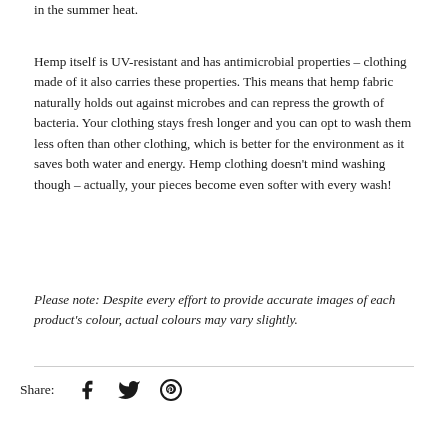in the summer heat.
Hemp itself is UV-resistant and has antimicrobial properties – clothing made of it also carries these properties. This means that hemp fabric naturally holds out against microbes and can repress the growth of bacteria. Your clothing stays fresh longer and you can opt to wash them less often than other clothing, which is better for the environment as it saves both water and energy. Hemp clothing doesn't mind washing though – actually, your pieces become even softer with every wash!
Please note: Despite every effort to provide accurate images of each product's colour, actual colours may vary slightly.
Share: